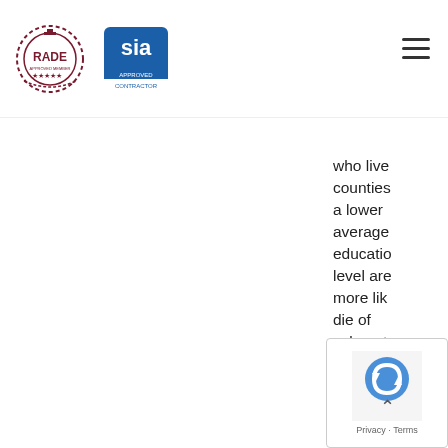RADE / SIA Approved Contractor logos and navigation
who live counties a lower average education level are more like die of colorect cancer screenim Florence Tangka about ye